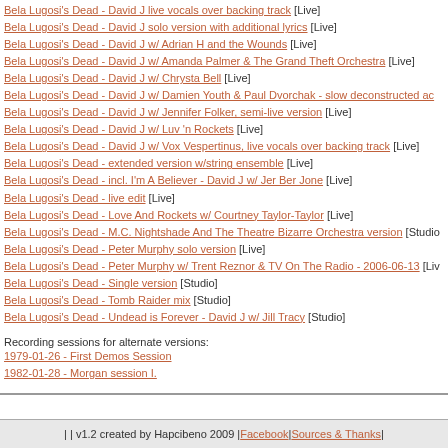Bela Lugosi's Dead - David J live vocals over backing track [Live]
Bela Lugosi's Dead - David J solo version with additional lyrics [Live]
Bela Lugosi's Dead - David J w/ Adrian H and the Wounds [Live]
Bela Lugosi's Dead - David J w/ Amanda Palmer & The Grand Theft Orchestra [Live]
Bela Lugosi's Dead - David J w/ Chrysta Bell [Live]
Bela Lugosi's Dead - David J w/ Damien Youth & Paul Dvorchak - slow deconstructed ac...
Bela Lugosi's Dead - David J w/ Jennifer Folker, semi-live version [Live]
Bela Lugosi's Dead - David J w/ Luv 'n Rockets [Live]
Bela Lugosi's Dead - David J w/ Vox Vespertinus, live vocals over backing track [Live]
Bela Lugosi's Dead - extended version w/string ensemble [Live]
Bela Lugosi's Dead - incl. I'm A Believer - David J w/ Jer Ber Jone [Live]
Bela Lugosi's Dead - live edit [Live]
Bela Lugosi's Dead - Love And Rockets w/ Courtney Taylor-Taylor [Live]
Bela Lugosi's Dead - M.C. Nightshade And The Theatre Bizarre Orchestra version [Studio...]
Bela Lugosi's Dead - Peter Murphy solo version [Live]
Bela Lugosi's Dead - Peter Murphy w/ Trent Reznor & TV On The Radio - 2006-06-13 [Liv...]
Bela Lugosi's Dead - Single version [Studio]
Bela Lugosi's Dead - Tomb Raider mix [Studio]
Bela Lugosi's Dead - Undead is Forever - David J w/ Jill Tracy [Studio]
Recording sessions for alternate versions:
1979-01-26 - First Demos Session
1982-01-28 - Morgan session I.
| | v1.2 created by Hapcibeno 2009 | Facebook | Sources & Thanks |